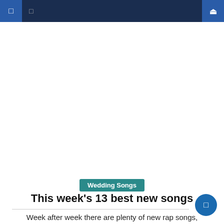Navigation bar with menu icons
[Figure (photo): Three photos side by side of rap artists: left - a large man performing on stage holding a microphone wearing a graphic tee and chains; center - a man in all black with a black cap and sunglasses singing into a microphone; right - a man in a Gucci patterned suit posing at an event with red lighting behind him]
Wedding Songs
This week's 13 best new songs
Week after week there are plenty of new rap songs,